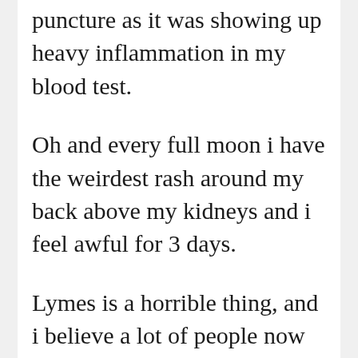puncture as it was showing up heavy inflammation in my blood test.
Oh and every full moon i have the weirdest rash around my back above my kidneys and i feel awful for 3 days.
Lymes is a horrible thing, and i believe a lot of people now with fibro have lymes. Years ago we